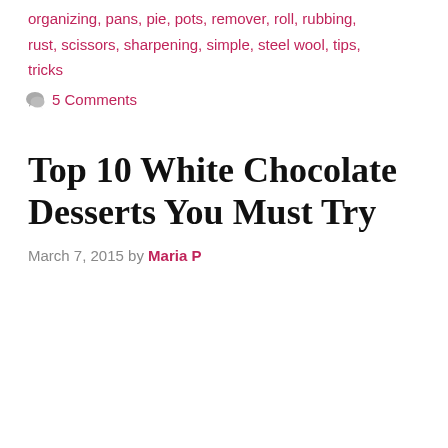organizing, pans, pie, pots, remover, roll, rubbing, rust, scissors, sharpening, simple, steel wool, tips, tricks
5 Comments
Top 10 White Chocolate Desserts You Must Try
March 7, 2015 by Maria P